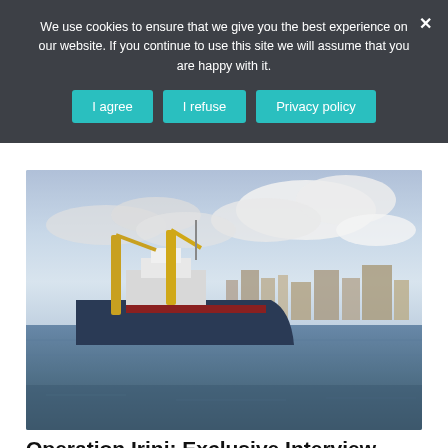We use cookies to ensure that we give you the best experience on our website. If you continue to use this site we will assume that you are happy with it.
[Figure (photo): A large cargo ship with yellow cranes in a harbor with city buildings visible in the background under a cloudy sky]
Operation Irini: Exclusive Interview With